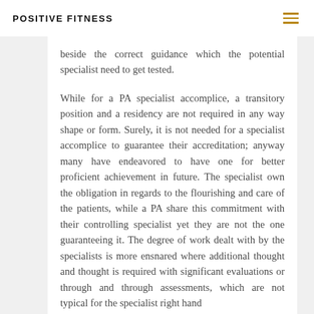POSITIVE FITNESS
beside the correct guidance which the potential specialist need to get tested.
While for a PA specialist accomplice, a transitory position and a residency are not required in any way shape or form. Surely, it is not needed for a specialist accomplice to guarantee their accreditation; anyway many have endeavored to have one for better proficient achievement in future. The specialist own the obligation in regards to the flourishing and care of the patients, while a PA share this commitment with their controlling specialist yet they are not the one guaranteeing it. The degree of work dealt with by the specialists is more ensnared where additional thought and thought is required with significant evaluations or through and through assessments, which are not typical for the specialist right hand